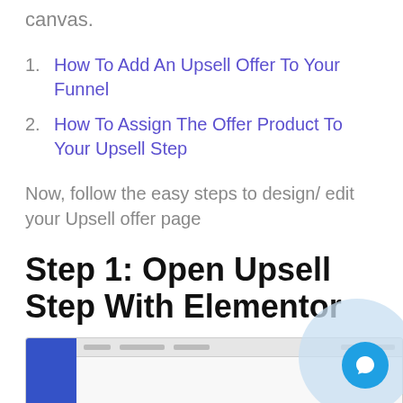canvas.
How To Add An Upsell Offer To Your Funnel
How To Assign The Offer Product To Your Upsell Step
Now, follow the easy steps to design/ edit your Upsell offer page
Step 1: Open Upsell Step With Elementor
1. Open your WPFunnels canvas.
[Figure (screenshot): Screenshot of WPFunnels canvas interface showing sidebar and main content area]